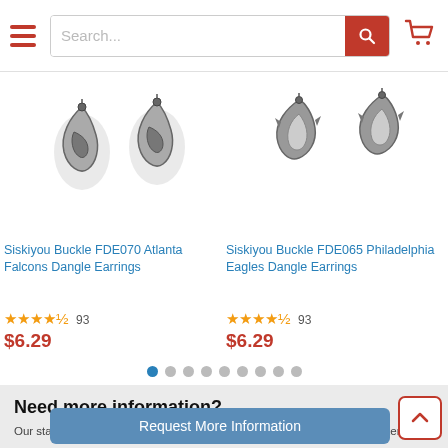Search...
[Figure (photo): Siskiyou Buckle FDE070 Atlanta Falcons Dangle Earrings product image - two metallic falcon logo earrings]
Siskiyou Buckle FDE070 Atlanta Falcons Dangle Earrings
93 reviews, $6.29
[Figure (photo): Siskiyou Buckle FDE065 Philadelphia Eagles Dangle Earrings product image - two metallic eagle logo earrings]
Siskiyou Buckle FDE065 Philadelphia Eagles Dangle Earrings
93 reviews, $6.29
Need more information?
Our staff are available to answer any questions you may have about this item
Request More Information